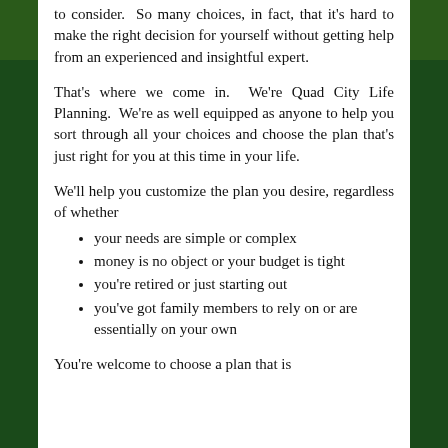to consider. So many choices, in fact, that it's hard to make the right decision for yourself without getting help from an experienced and insightful expert.
That's where we come in. We're Quad City Life Planning. We're as well equipped as anyone to help you sort through all your choices and choose the plan that's just right for you at this time in your life.
We'll help you customize the plan you desire, regardless of whether
your needs are simple or complex
money is no object or your budget is tight
you're retired or just starting out
you've got family members to rely on or are essentially on your own
You're welcome to choose a plan that is